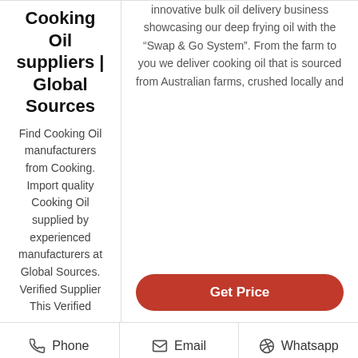Cooking Oil suppliers | Global Sources
Find Cooking Oil manufacturers from Cooking. Import quality Cooking Oil supplied by experienced manufacturers at Global Sources. Verified Supplier This Verified
innovative bulk oil delivery business showcasing our deep frying oil with the “Swap & Go System”. From the farm to you we deliver cooking oil that is sourced from Australian farms, crushed locally and
Get Price
Phone   Email   Whatsapp